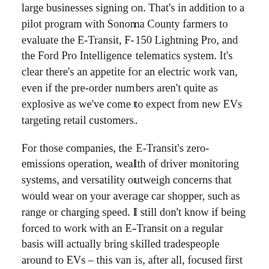large businesses signing on. That's in addition to a pilot program with Sonoma County farmers to evaluate the E-Transit, F-150 Lightning Pro, and the Ford Pro Intelligence telematics system. It's clear there's an appetite for an electric work van, even if the pre-order numbers aren't quite as explosive as we've come to expect from new EVs targeting retail customers.
For those companies, the E-Transit's zero-emissions operation, wealth of driver monitoring systems, and versatility outweigh concerns that would wear on your average car shopper, such as range or charging speed. I still don't know if being forced to work with an E-Transit on a regular basis will actually bring skilled tradespeople around to EVs – this van is, after all, focused first and foremost on the needs of businesses. But after sampling the E-Transit, I'm confident that Ford's latest electric product brings abilities to the table